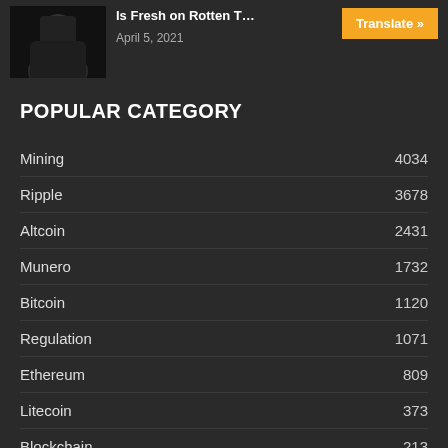[Figure (photo): Dark portrait photo of a person, partially visible thumbnail]
Is Fresh on Rotten T…
April 5, 2021
Translate »
POPULAR CATEGORY
Mining    4034
Ripple    3678
Altcoin    2431
Munero    1732
Bitcoin    1120
Regulation    1071
Ethereum    809
Litecoin    373
Blockchain    213